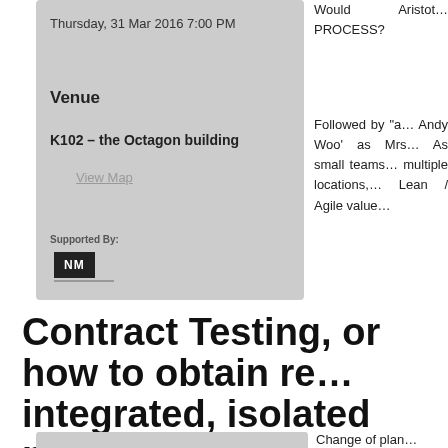Thursday, 31 Mar 2016 7:00 PM
Venue
K102 – the Octagon building
View Map
Supported By:
[Figure (logo): NM logo in black box]
Would Aristot… PROCESS?
Followed by “a… Andy Woo’ as Mrs… As small teams… multiple locations,… Lean / Agile value…
Contract Testing, or how to obtain re… integrated, isolated microservices.
FEBRUARY 18, 2016
Change of plan…